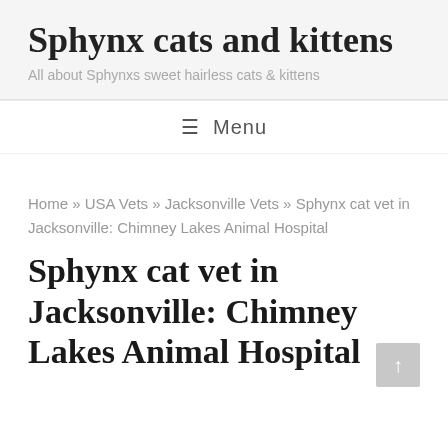Sphynx cats and kittens
All about Sphynxs sweet hairless cats & kittens
≡  Menu
Home » USA Vets » Jacksonville Vets » Sphynx cat vet in Jacksonville: Chimney Lakes Animal Hospital
Sphynx cat vet in Jacksonville: Chimney Lakes Animal Hospital